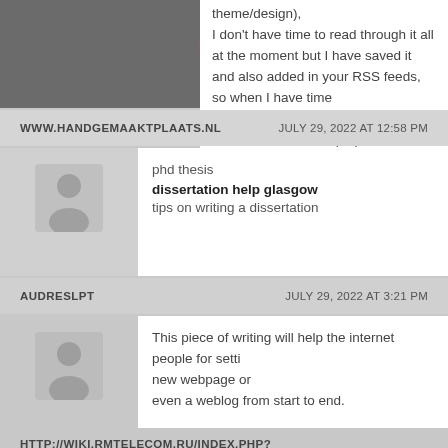theme/design),
I don't have time to read through it all at the moment but I have saved it
and also added in your RSS feeds, so when I have time
I will be back to read a great deal more, Please do keep up the excellent job.
WWW.HANDGEMAAKTPLAATS.NL                         JULY 29, 2022 AT 12:58 PM
phd thesis
dissertation help glasgow
tips on writing a dissertation
AUDRESLPT                                      JULY 29, 2022 AT 3:21 PM
This piece of writing will help the internet people for setting new webpage or
even a weblog from start to end.
HTTP://WIKI.RMTELECOM.RU/INDEX.PHP?